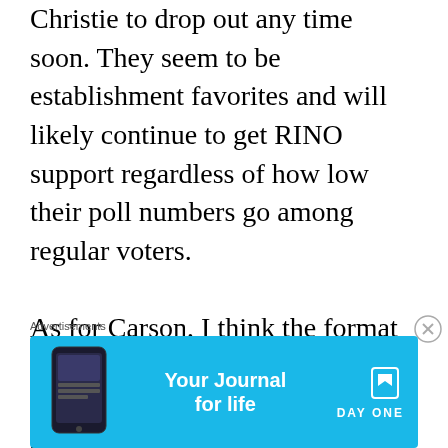Christie to drop out any time soon. They seem to be establishment favorites and will likely continue to get RINO support regardless of how low their poll numbers go among regular voters.

As for Carson, I think the format of the debates we have seen thus far has put him at an unfair disadvantage. The moderators give extra time to any candidate who is mentioned by another, so as long as they keep attacking each other, they control the stage. Carson generally does not get attacked and will not attack his fellow
Advertisements
[Figure (other): Advertisement banner for Day One app — 'Your Journal for life' — with app screenshot on left, text in center, and Day One logo/icon on right, on a blue background.]